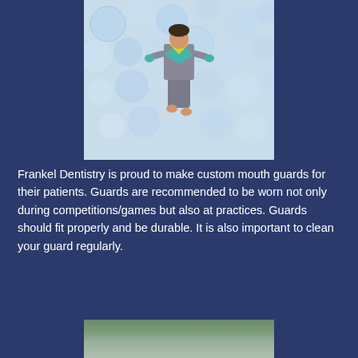[Figure (photo): A child jumping in a grey tracksuit with teal and yellow accents, against a background of colorful pastel bubbles/balloons.]
Frankel Dentistry is proud to make custom mouth guards for their patients. Guards are recommended to be worn not only during competitions/games but also at practices. Guards should fit properly and be durable. It is also important to clean your guard regularly.
[Figure (photo): Partial photo visible at bottom of page, appears to show trees or outdoor scene.]